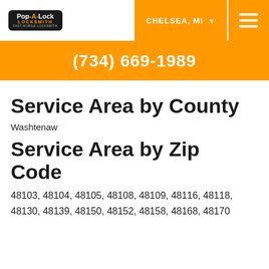Pop-A-Lock Locksmith | CHELSEA, MI
(734) 669-1989
Service Area by County
Washtenaw
Service Area by Zip Code
48103, 48104, 48105, 48108, 48109, 48116, 48118, 48130, 48139, 48150, 48152, 48158, 48168, 48170